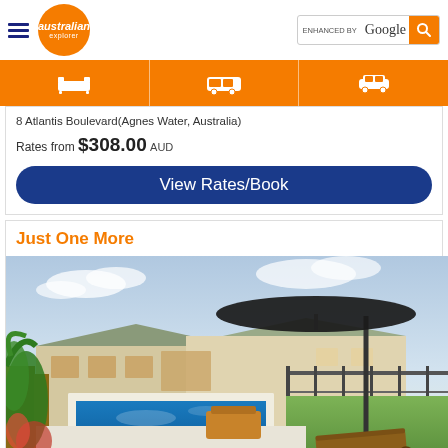Australian Explorer — ENHANCED BY Google
8 Atlantis Boulevard(Agnes Water, Australia)
Rates from $308.00 AUD
View Rates/Book
Just One More
[Figure (photo): Exterior view of a holiday rental home with a swimming pool, outdoor lounge furniture, large black patio umbrella, and a wooden sun lounger in the foreground. Tropical vegetation visible on the left.]